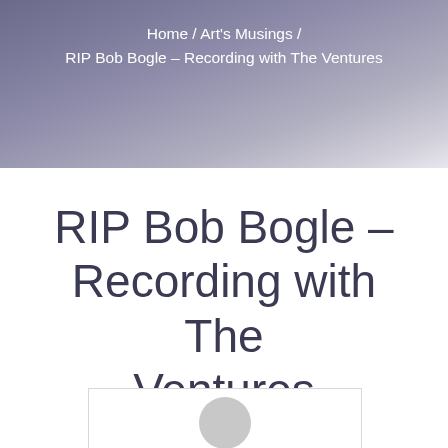Home / Art's Musings / RIP Bob Bogle – Recording with The Ventures
RIP Bob Bogle – Recording with The Ventures
[Figure (photo): Partially visible image placeholder with a grey circular avatar shape at the bottom, inside a white bordered box]